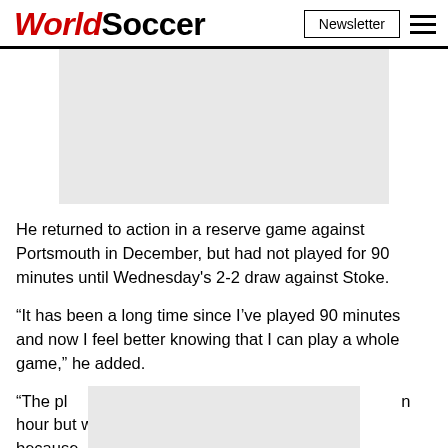WorldSoccer
[Figure (other): Advertisement banner placeholder (grey rectangle)]
He returned to action in a reserve game against Portsmouth in December, but had not played for 90 minutes until Wednesday's 2-2 draw against Stoke.
“It has been a long time since I’ve played 90 minutes and now I feel better knowing that I can play a whole game,” he added.
“The plan against Portsmouth reserves was to play an hour but we decided to come off because happy
[Figure (other): Advertisement overlay banner placeholder (grey rectangle) partially covering bottom text]